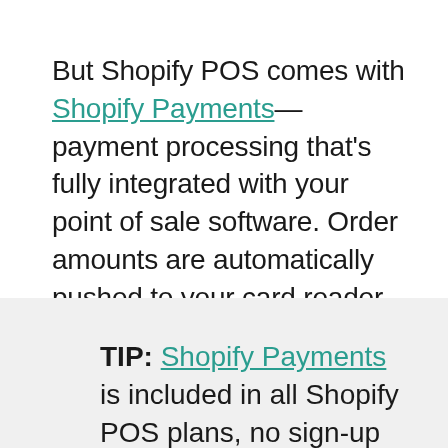But Shopify POS comes with Shopify Payments—payment processing that's fully integrated with your point of sale software. Order amounts are automatically pushed to your card reader, so you never have to manually enter card details. You can also track transactions and see when funds will be deposited in your bank account in Shopify admin.
TIP: Shopify Payments is included in all Shopify POS plans, no sign-up or setup fees required. Control your cash flow better and pay the same pre-